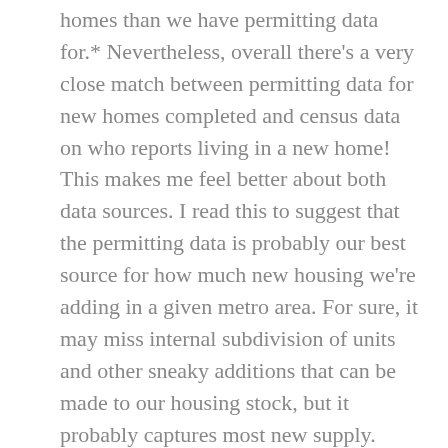homes than we have permitting data for.* Nevertheless, overall there's a very close match between permitting data for new homes completed and census data on who reports living in a new home! This makes me feel better about both data sources. I read this to suggest that the permitting data is probably our best source for how much new housing we're adding in a given metro area. For sure, it may miss internal subdivision of units and other sneaky additions that can be made to our housing stock, but it probably captures most new supply. Moreover – and this is important – very few new homes would appear to be empty – or even occupied by anything but their usual permanent residents. What do you know? When you build new homes for people, they report moving into them!